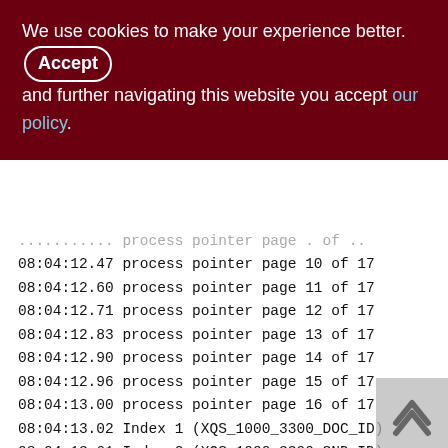We use cookies to make your experience better. By accepting and further navigating this website you accept our policy.
08:04:12.47 process pointer page 10 of 17
08:04:12.60 process pointer page 11 of 17
08:04:12.71 process pointer page 12 of 17
08:04:12.83 process pointer page 13 of 17
08:04:12.90 process pointer page 14 of 17
08:04:12.96 process pointer page 15 of 17
08:04:13.00 process pointer page 16 of 17
08:04:13.02 Index 1 (XQS_1000_3300_DOC_ID)
08:04:13.61 Index 2 (XQS_1000_3300_SND_ID)
08:04:13.85 Index 3 (XQS_1000_3300_RCV_ID)
08:04:13.99 Relation 266 (XQS_1000_3300) is ok